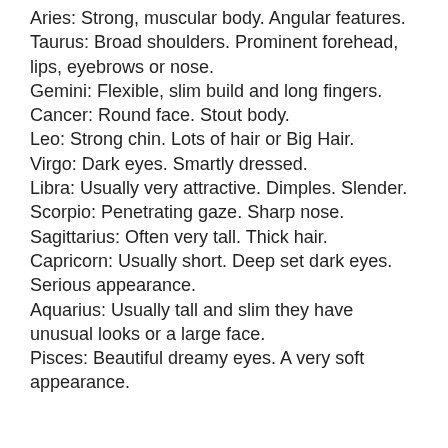Aries: Strong, muscular body. Angular features.
Taurus: Broad shoulders. Prominent forehead, lips, eyebrows or nose.
Gemini: Flexible, slim build and long fingers.
Cancer: Round face. Stout body.
Leo: Strong chin. Lots of hair or Big Hair.
Virgo: Dark eyes. Smartly dressed.
Libra: Usually very attractive. Dimples. Slender.
Scorpio: Penetrating gaze. Sharp nose.
Sagittarius: Often very tall. Thick hair.
Capricorn: Usually short. Deep set dark eyes. Serious appearance.
Aquarius: Usually tall and slim they have unusual looks or a large face.
Pisces: Beautiful dreamy eyes. A very soft appearance.